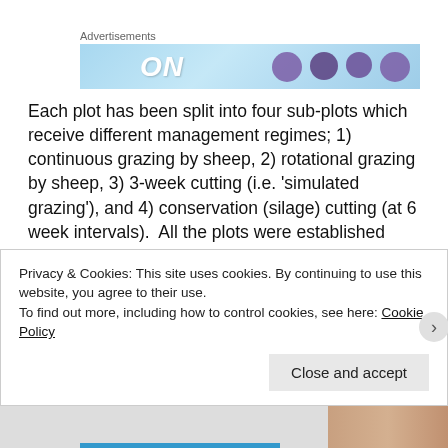[Figure (other): Advertisement banner with light blue background, bold italic 'ON' text and purple circles/dots on right side]
Each plot has been split into four sub-plots which receive different management regimes; 1) continuous grazing by sheep, 2) rotational grazing by sheep, 3) 3-week cutting (i.e. 'simulated grazing'), and 4) conservation (silage) cutting (at 6 week intervals).  All the plots were established according to best practice industry guidelines, and the managements imposed also reflect best practice.  This means that the rates of fertiliser
Privacy & Cookies: This site uses cookies. By continuing to use this website, you agree to their use.
To find out more, including how to control cookies, see here: Cookie Policy
Close and accept